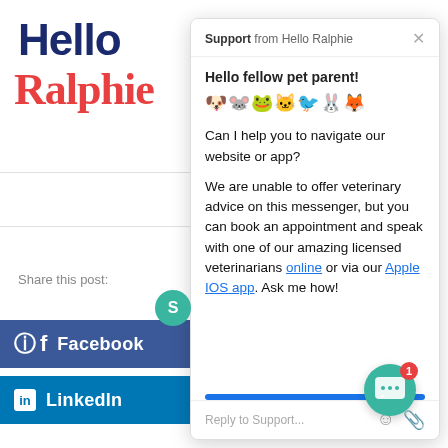[Figure (screenshot): Hello Ralphie logo on left side of webpage with 'Hello' in dark navy and 'Ralphie' in red/coral color]
Share this post:
[Figure (screenshot): Facebook share button - dark blue button with Facebook icon and label]
[Figure (screenshot): LinkedIn share button - blue button with LinkedIn icon and label]
[Figure (screenshot): Chat support popup widget from Hello Ralphie showing greeting message with animal emojis and support text about booking veterinary appointments online or via Apple iOS app]
Support from Hello Ralphie
Hello fellow pet parent! 🐶🐭🐸🐱🐦🐰🦊
Can I help you to navigate our website or app?
We are unable to offer veterinary advice on this messenger, but you can book an appointment and speak with one of our amazing licensed veterinarians online or via our Apple IOS app. Ask me how!
Reply to Support...